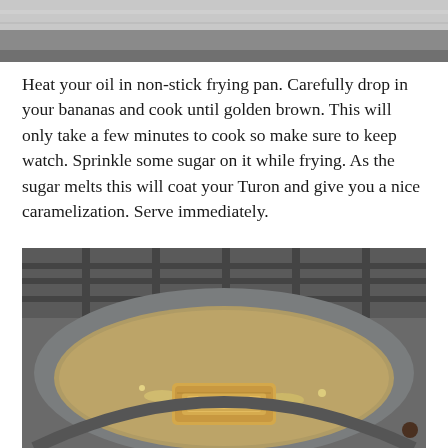[Figure (photo): Partial view of a kitchen stovetop or cooking surface, cropped at the top of the page]
Heat your oil in non-stick frying pan. Carefully drop in your bananas and cook until golden brown. This will only take a few minutes to cook so make sure to keep watch. Sprinkle some sugar on it while frying. As the sugar melts this will coat your Turon and give you a nice caramelization. Serve immediately.
[Figure (photo): A turon (banana spring roll) frying in oil in a gray non-stick pan on a gas stovetop. The wrapped banana roll is golden and surrounded by bubbling oil.]